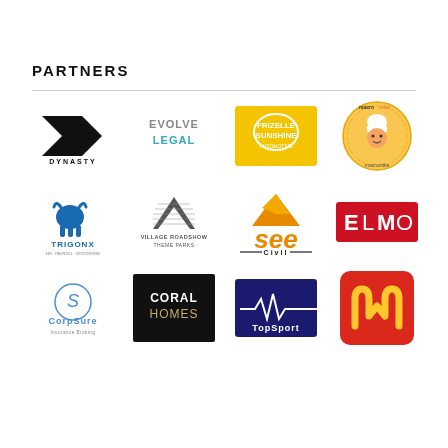PARTNERS
[Figure (logo): Dynasty logo - black stylized arrow/chevron with DYNASTY text below]
[Figure (logo): Evolve Legal logo - grey/teal text EVOLVE LEGAL]
[Figure (logo): Frizelle Sunshine Automotive logo - yellow background with white text]
[Figure (logo): Macro Mike logo - circular badge with chef character]
[Figure (logo): TrigonX logo - blue bull with TRIGONX text]
[Figure (logo): Village Roadshow Theme Parks logo - V shape with text]
[Figure (logo): SEE Civil logo - orange mountain/civil logo]
[Figure (logo): ELMO logo - red rectangle with ELMO text]
[Figure (logo): CorpSure Insurance Broking logo - circular S with text]
[Figure (logo): Coral Homes logo - black background with CORAL HOMES text]
[Figure (logo): TopSport logo - dark blue/purple background with heartbeat line]
[Figure (logo): McDonald's logo - red background with golden arches M]